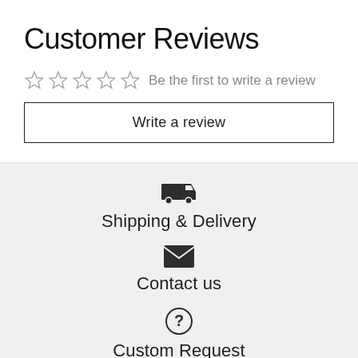Customer Reviews
Be the first to write a review
Write a review
[Figure (infographic): Shipping & Delivery icon (delivery truck)]
Shipping & Delivery
[Figure (infographic): Contact us icon (envelope)]
Contact us
[Figure (infographic): Custom Request icon (circle with question mark)]
Custom Request